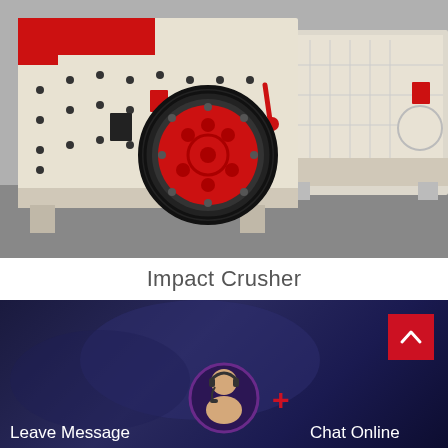[Figure (photo): Industrial impact crusher machine — large white metal body with red interior hopper, a prominent red and black flywheel on the front, red adjustment lever, and bolted steel frame. Two crusher units visible side by side on a concrete floor.]
Impact Crusher
[Figure (screenshot): Dark navy blue banner footer section with a red 'back to top' chevron button top-right, a customer service agent avatar (woman with headset) centered at bottom, a red plus sign to the right of avatar, 'Leave Message' text on the lower left, and 'Chat Online' text on the lower right.]